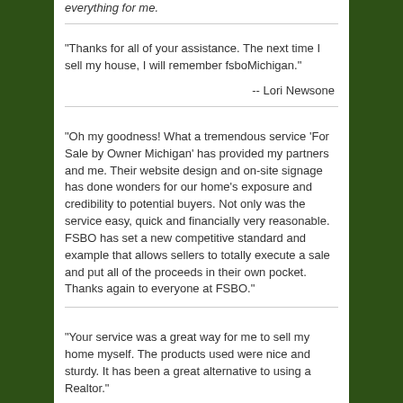everything for me.
"Thanks for all of your assistance. The next time I sell my house, I will remember fsboMichigan."
-- Lori Newsone
"Oh my goodness! What a tremendous service ‘For Sale by Owner Michigan’ has provided my partners and me. Their website design and on-site signage has done wonders for our home’s exposure and credibility to potential buyers. Not only was the service easy, quick and financially very reasonable. FSBO has set a new competitive standard and example that allows sellers to totally execute a sale and put all of the proceeds in their own pocket. Thanks again to everyone at FSBO."
"Your service was a great way for me to sell my home myself. The products used were nice and sturdy. It has been a great alternative to using a Realtor."